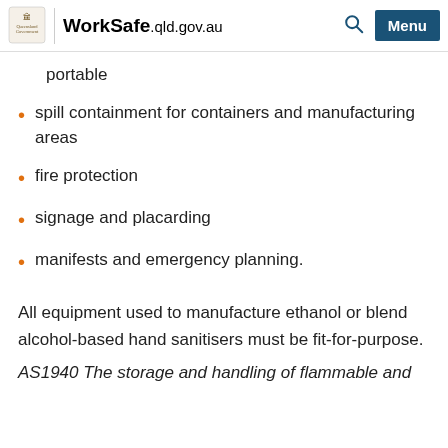WorkSafe.qld.gov.au
portable
spill containment for containers and manufacturing areas
fire protection
signage and placarding
manifests and emergency planning.
All equipment used to manufacture ethanol or blend alcohol-based hand sanitisers must be fit-for-purpose.
AS1940 The storage and handling of flammable and